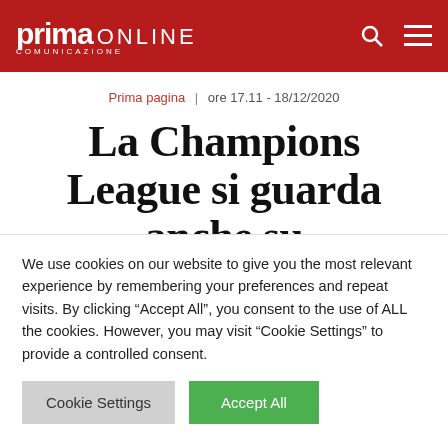prima ONLINE COMUNICAZIONE
Prima pagina | ore 17.11 - 18/12/2020
La Champions League si guarda anche su
We use cookies on our website to give you the most relevant experience by remembering your preferences and repeat visits. By clicking "Accept All", you consent to the use of ALL the cookies. However, you may visit "Cookie Settings" to provide a controlled consent.